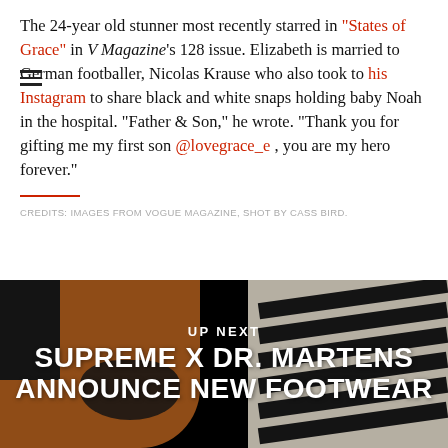The 24-year old stunner most recently starred in "States of Grace" in V Magazine's 128 issue. Elizabeth is married to German footballer, Nicolas Krause who also took to his Instagram to share black and white snaps holding baby Noah in the hospital. "Father & Son," he wrote. "Thank you for gifting me my first son @lovegrace_e , you are my hero forever."
CREDITS: IMAGES FROM VOGUE MAGAZINE, SHOT BY CASS BIRD.
[Figure (photo): Photo of shoes including a tan/brown Dr. Martens boot and a black-and-white zebra print Dr. Martens shoe, with text overlay reading UP NEXT / SUPREME X DR. MARTENS / ANNOUNCE NEW FOOTWEAR]
UP NEXT
SUPREME X DR. MARTENS ANNOUNCE NEW FOOTWEAR